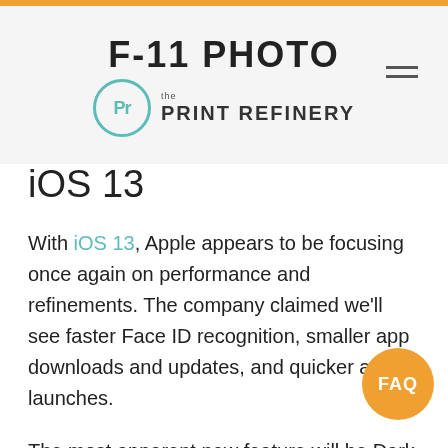F-11 PHOTO — the Print Refinery
iOS 13
With iOS 13, Apple appears to be focusing once again on performance and refinements. The company claimed we'll see faster Face ID recognition, smaller app downloads and updates, and quicker app launches.
The most apparent new feature will be Dark Mode, which Apple is bringing over from Mojave. It displays light text on a dark background, which can be welcome when using an iOS device in a dark room without